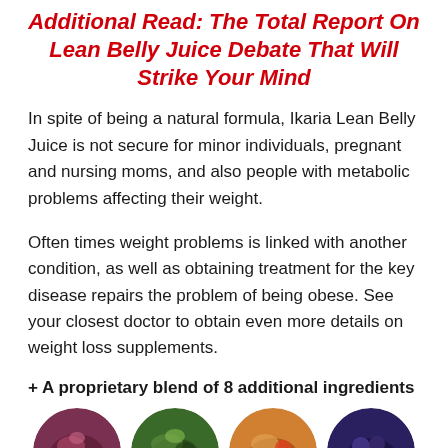Additional Read: The Total Report On Lean Belly Juice Debate That Will Strike Your Mind
In spite of being a natural formula, Ikaria Lean Belly Juice is not secure for minor individuals, pregnant and nursing moms, and also people with metabolic problems affecting their weight.
Often times weight problems is linked with another condition, as well as obtaining treatment for the key disease repairs the problem of being obese. See your closest doctor to obtain even more details on weight loss supplements.
+ A proprietary blend of 8 additional ingredients
[Figure (photo): Four circular cropped photos of various fruits and vegetables arranged in a row at the bottom of the page]